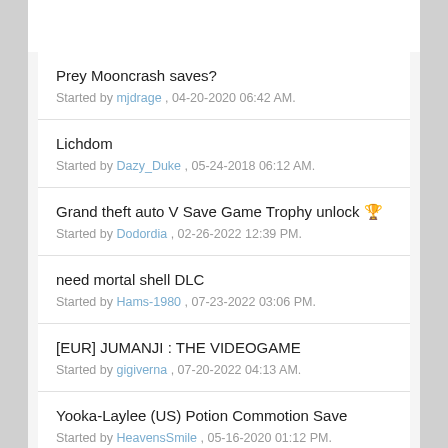Prey Mooncrash saves?
Started by mjdrage , 04-20-2020 06:42 AM.
Lichdom
Started by Dazy_Duke , 05-24-2018 06:12 AM.
Grand theft auto V Save Game Trophy unlock 🏆
Started by Dodordia , 02-26-2022 12:39 PM.
need mortal shell DLC
Started by Hams-1980 , 07-23-2022 03:06 PM.
[EUR] JUMANJI : THE VIDEOGAME
Started by gigiverna , 07-20-2022 04:13 AM.
Yooka-Laylee (US) Potion Commotion Save
Started by HeavensSmile , 05-16-2020 01:12 PM.